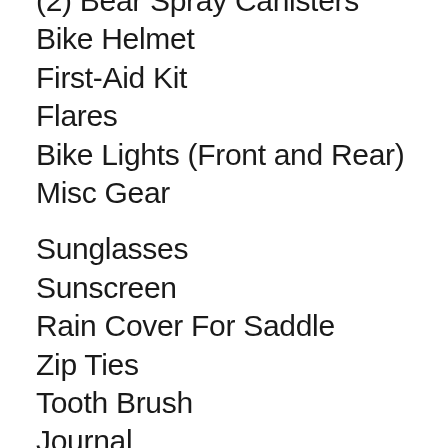(2) Bear Spray Canisters
Bike Helmet
First-Aid Kit
Flares
Bike Lights (Front and Rear)
Misc Gear
Sunglasses
Sunscreen
Rain Cover For Saddle
Zip Ties
Tooth Brush
Journal